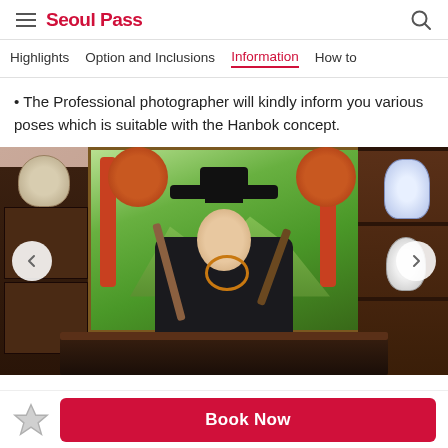Seoul Pass
Highlights  Option and Inclusions  Information  How to
• The Professional photographer will kindly inform you various poses which is suitable with the Hanbok concept.
[Figure (photo): A person dressed in traditional Korean Hanbok (black scholar's outfit with gat hat), posing with a wooden stick in front of a colorful Korean folk painting mural, flanked by dark wooden shelving with ceramic vases.]
Book Now